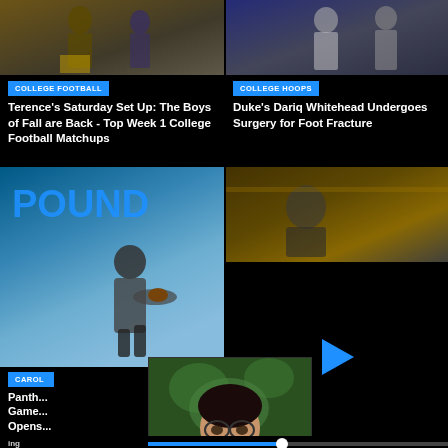[Figure (photo): Sports photo top left - college football players/coaches]
[Figure (photo): Sports photo top right - college basketball players]
COLLEGE FOOTBALL
Terence's Saturday Set Up: The Boys of Fall are Back - Top Week 1 College Football Matchups
COLLEGE HOOPS
Duke's Dariq Whitehead Undergoes Surgery for Foot Fracture
[Figure (photo): Sports photo bottom left - Carolina Panthers football player running]
[Figure (photo): Sports photo bottom right - blurred sports action]
CAROL
Panth... Game... Opens...
[Figure (screenshot): Video overlay with play button and person thumbnail]